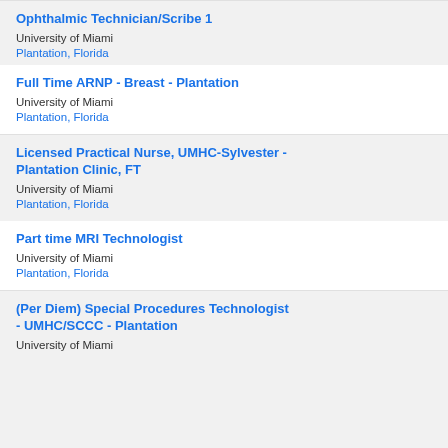Ophthalmic Technician/Scribe 1
University of Miami
Plantation, Florida
Full Time ARNP - Breast - Plantation
University of Miami
Plantation, Florida
Licensed Practical Nurse, UMHC-Sylvester - Plantation Clinic, FT
University of Miami
Plantation, Florida
Part time MRI Technologist
University of Miami
Plantation, Florida
(Per Diem) Special Procedures Technologist - UMHC/SCCC - Plantation
University of Miami